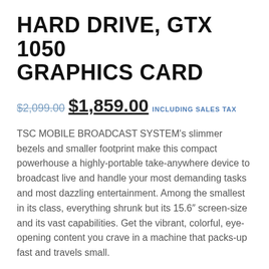HARD DRIVE, GTX 1050 GRAPHICS CARD
$2,099.00 $1,859.00 INCLUDING SALES TAX
TSC MOBILE BROADCAST SYSTEM's slimmer bezels and smaller footprint make this compact powerhouse a highly-portable take-anywhere device to broadcast live and handle your most demanding tasks and most dazzling entertainment. Among the smallest in its class, everything shrunk but its 15.6" screen-size and its vast capabilities. Get the vibrant, colorful, eye-opening content you crave in a machine that packs-up fast and travels small.
| SKU |  |
| --- | --- |
| SKU | TSC6854-WP |